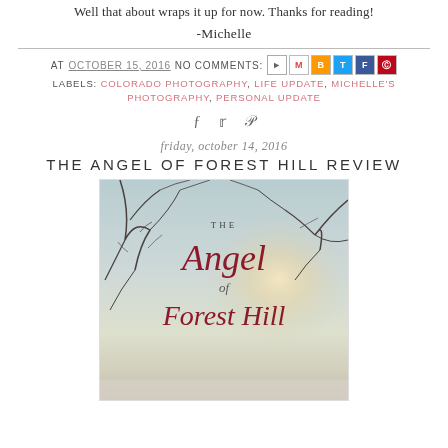Well that about wraps it up for now. Thanks for reading!
-Michelle
AT OCTOBER 15, 2016  NO COMMENTS:  [share icons]
LABELS: COLORADO PHOTOGRAPHY, LIFE UPDATE, MICHELLE'S PHOTOGRAPHY, PERSONAL UPDATE
[social share icons: facebook, twitter, pinterest]
friday, october 14, 2016
THE ANGEL OF FOREST HILL REVIEW
[Figure (photo): Book cover of 'The Angel of Forest Hill' with winter tree branches against a misty sky, red cursive title text]